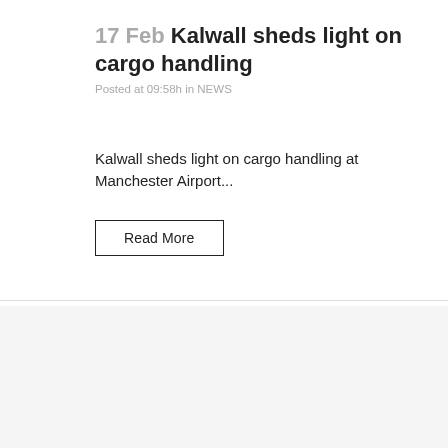17 Feb Kalwall sheds light on cargo handling
Posted at 09:58h in NEWS
Kalwall sheds light on cargo handling at Manchester Airport...
Read More
We use cookies to ensure that we give you the best experience on our website and so that we can analyse and improve the service we provide.
Accept All    Decline & Leave    Cookie Policy